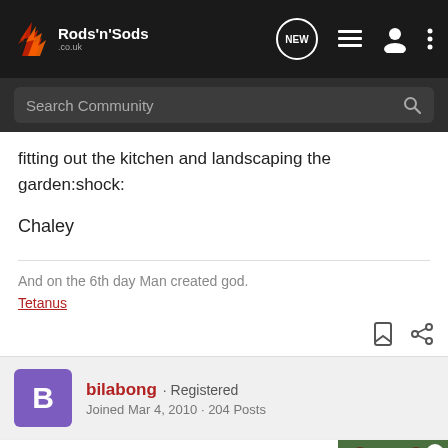Rods'n'Sods
Search Community
fitting out the kitchen and landscaping the garden:shock:
Chaley
And on the 6th day Man created god.
Tetanus
bilabong · Registered
Joined Mar 4, 2010 · 204 Posts
#8 · Mar 1